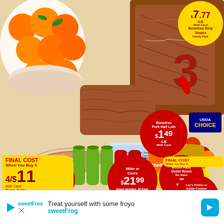[Figure (photo): Grocery store weekly sale ad featuring oranges, boneless strip steaks, salmon, Coors beer, flowers, Coca-Cola/Mountain Dew sodas, and Lay's/Cheetos/Fritos chips with various sale prices]
$7.77 /LB With Card Boneless Strip Steaks Family Pack
Boneless Pork Half Loin $1.49 /LB With Card or Pork Spareribs, Bone-in $1.79 lb with Card
USDA CHOICE
Fresh Atlantic Salmon Whole Sides $7.99 /LB With Card
Farm-Raised or Center-Cut Salmon, 3.5-4lb or with Card
Miller or Coors $21.99 Select Varieties, 30-Pack, 12 fl oz Cans
Bloom Haus Dozen Roses No Stem $7
FINAL COST When You Buy 4 4/$11 With Card Coca-Cola, Mountain Dew or Canada Dry
FINAL COST When You Buy 4
Lay's Potato or Kettle Cooked Potato Chips $1.99 /EA With Card
4-7.5 oz or Cheetos, 5.5-8.5 oz Fritos, 9.25-10 oz or Fritos, Colored
Treat yourself with some froyo
sweetFrog
sweetFrog advertisement banner